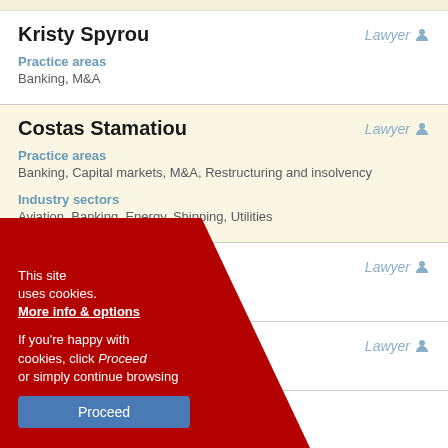Kristy Spyrou
Lawyer
Practice areas
Banking, M&A
Costas Stamatiou
Lawyer
Practice areas
Banking, Capital markets, M&A, Restructuring and insolvency
Industry sectors
Aviation, Banking, Energy, Shipping, Utilities
…Strati
Lawyer
…ylou
Lawyer
This site uses cookies. More info & options
If you're happy with cookies, click Proceed or simply continue browsing
Proceed